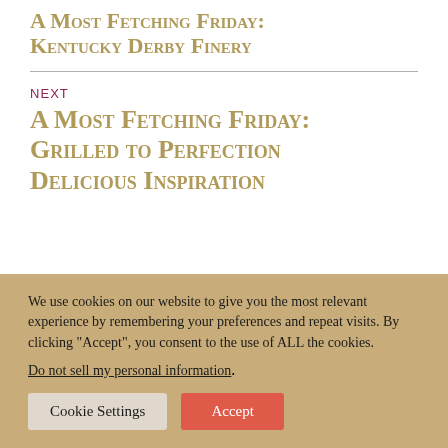A Most Fetching Friday: Kentucky Derby Finery
NEXT
A Most Fetching Friday: Grilled to Perfection Delicious Inspiration
We use cookies on our website to give you the most relevant experience by remembering your preferences and repeat visits. By clicking “Accept”, you consent to the use of ALL the cookies.
Do not sell my personal information.